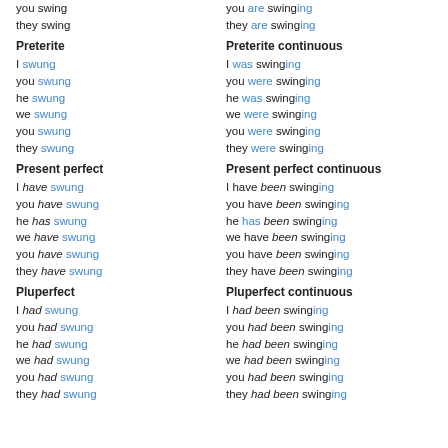you swing
they swing
you are swinging
they are swinging
Preterite
Preterite continuous
I swung
you swung
he swung
we swung
you swung
they swung
I was swinging
you were swinging
he was swinging
we were swinging
you were swinging
they were swinging
Present perfect
Present perfect continuous
I have swung
you have swung
he has swung
we have swung
you have swung
they have swung
I have been swinging
you have been swinging
he has been swinging
we have been swinging
you have been swinging
they have been swinging
Pluperfect
Pluperfect continuous
I had swung
you had swung
he had swung
we had swung
you had swung
they had swung
I had been swinging
you had been swinging
he had been swinging
we had been swinging
you had been swinging
they had been swinging